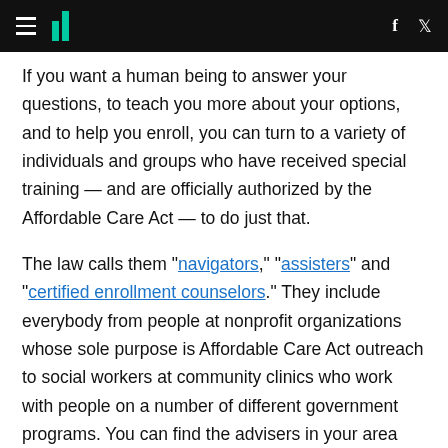HuffPost navigation header with hamburger menu, logo, Facebook and Twitter icons
If you want a human being to answer your questions, to teach you more about your options, and to help you enroll, you can turn to a variety of individuals and groups who have received special training — and are officially authorized by the Affordable Care Act — to do just that.
The law calls them "navigators," "assisters" and "certified enrollment counselors." They include everybody from people at nonprofit organizations whose sole purpose is Affordable Care Act outreach to social workers at community clinics who work with people on a number of different government programs. You can find the advisers in your area through